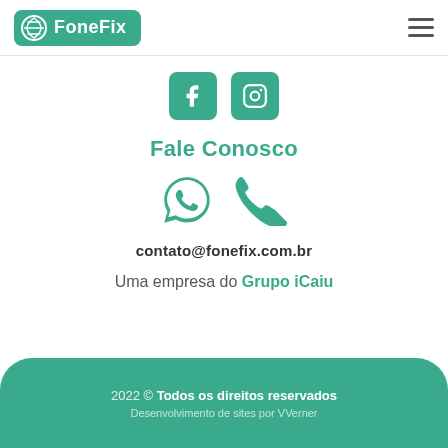FoneFix
[Figure (logo): Facebook and Instagram social media icons (green square buttons with white f and camera icons)]
Fale Conosco
[Figure (illustration): WhatsApp and phone call icons in teal/green color]
contato@fonefix.com.br
Uma empresa do Grupo iCaiu
2022 © Todos os direitos reservados
Desenvolvimento de sites por VVerner